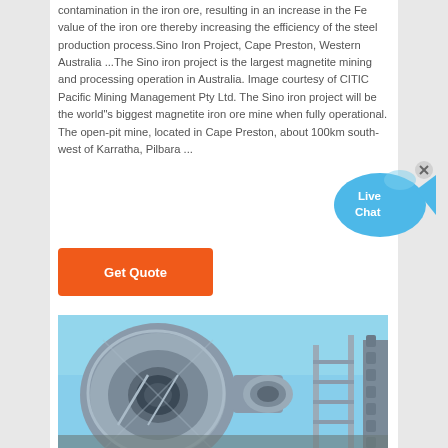contamination in the iron ore, resulting in an increase in the Fe value of the iron ore thereby increasing the efficiency of the steel production process.Sino Iron Project, Cape Preston, Western Australia ...The Sino iron project is the largest magnetite mining and processing operation in Australia. Image courtesy of CITIC Pacific Mining Management Pty Ltd. The Sino iron project will be the world"s biggest magnetite iron ore mine when fully operational. The open-pit mine, located in Cape Preston, about 100km south-west of Karratha, Pilbara ...
[Figure (other): Live Chat button widget — blue speech bubble with fish tail and 'Live Chat' text]
[Figure (photo): Industrial mining equipment — large ball mill or grinding mill machinery photographed against a blue sky, showing large cylindrical drum with metal gears/teeth on the right side]